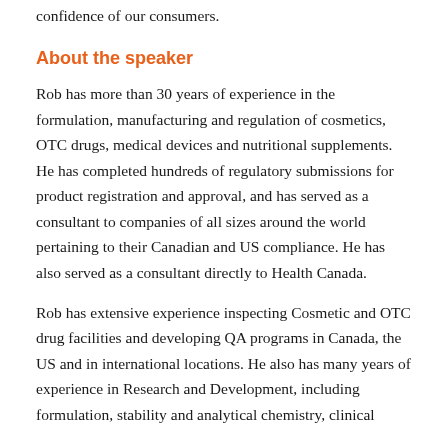confidence of our consumers.
About the speaker
Rob has more than 30 years of experience in the formulation, manufacturing and regulation of cosmetics, OTC drugs, medical devices and nutritional supplements. He has completed hundreds of regulatory submissions for product registration and approval, and has served as a consultant to companies of all sizes around the world pertaining to their Canadian and US compliance. He has also served as a consultant directly to Health Canada.
Rob has extensive experience inspecting Cosmetic and OTC drug facilities and developing QA programs in Canada, the US and in international locations. He also has many years of experience in Research and Development, including formulation, stability and analytical chemistry, clinical